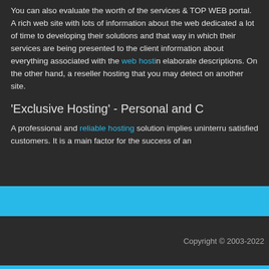You can also evaluate the worth of the services & TOP WEB portal. A rich web site with lots of information about the web dedicated a lot of time to developing their solutions and that way in which their services are being presented to the client information about everything associated with the web hosting elaborate descriptions. On the other hand, a reseller hosting that you may detect on another site.
'Exclusive Hosting' - Personal and C
A professional and reliable hosting solution implies uninterru satisfied customers. It is a main factor for the success of an
Copyright © 2003-2022